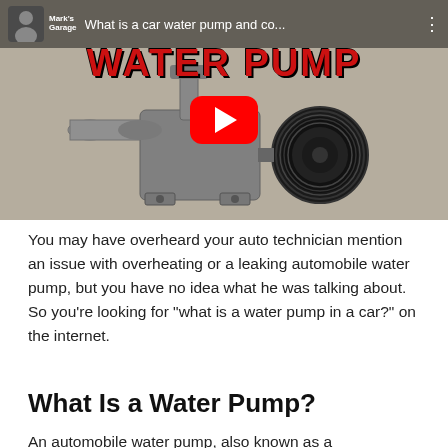[Figure (screenshot): YouTube video thumbnail showing a car water pump component on a beige background. Red 'WATER PUMP' text at top. Red YouTube play button in center. Channel icon labeled Mark's Garage at top left. Video title reads 'What is a car water pump and co...']
You may have overheard your auto technician mention an issue with overheating or a leaking automobile water pump, but you have no idea what he was talking about. So you're looking for "what is a water pump in a car?" on the internet.
What Is a Water Pump?
An automobile water pump, also known as a...